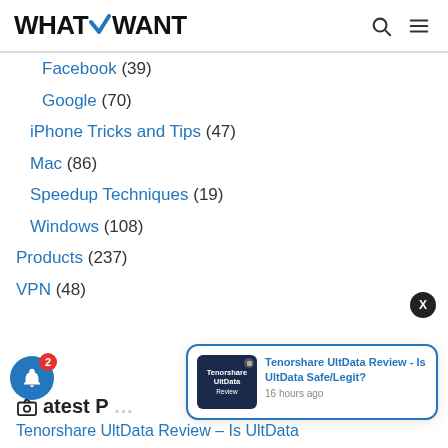WHATVWANT
Facebook (39)
Google (70)
iPhone Tricks and Tips (47)
Mac (86)
Speedup Techniques (19)
Windows (108)
Products (237)
VPN (48)
Latest Posts
Tenorshare UltData Review – Is UltData
[Figure (screenshot): Notification popup showing Tenorshare UltData Review article with thumbnail, title, and '16 hours ago' timestamp]
[Figure (infographic): Blue notification bell button with red badge showing '2']